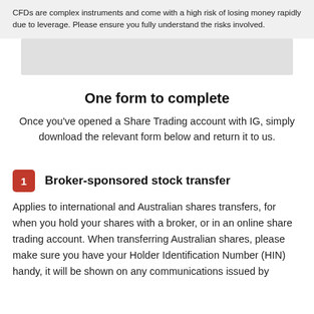CFDs are complex instruments and come with a high risk of losing money rapidly due to leverage. Please ensure you fully understand the risks involved.
[Figure (screenshot): Partially visible image or banner element at top of content area]
One form to complete
Once you've opened a Share Trading account with IG, simply download the relevant form below and return it to us.
1  Broker-sponsored stock transfer
Applies to international and Australian shares transfers, for when you hold your shares with a broker, or in an online share trading account. When transferring Australian shares, please make sure you have your Holder Identification Number (HIN) handy, it will be shown on any communications issued by